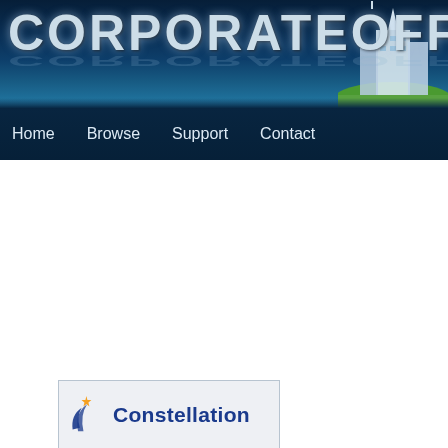CORPORATEOFFICE
Home   Browse   Support   Contact
[Figure (logo): Constellation brand logo with orange star and blue swoosh icon, text 'Constellation']